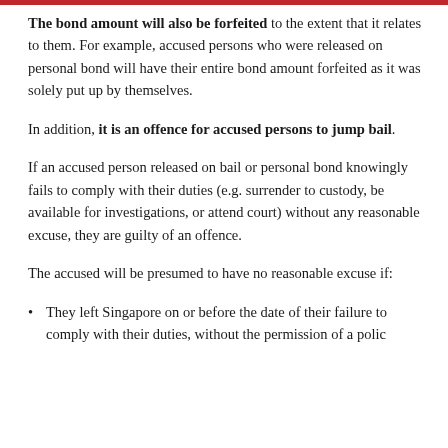The bond amount will also be forfeited to the extent that it relates to them. For example, accused persons who were released on personal bond will have their entire bond amount forfeited as it was solely put up by themselves.
In addition, it is an offence for accused persons to jump bail.
If an accused person released on bail or personal bond knowingly fails to comply with their duties (e.g. surrender to custody, be available for investigations, or attend court) without any reasonable excuse, they are guilty of an offence.
The accused will be presumed to have no reasonable excuse if:
They left Singapore on or before the date of their failure to comply with their duties, without the permission of a polic...